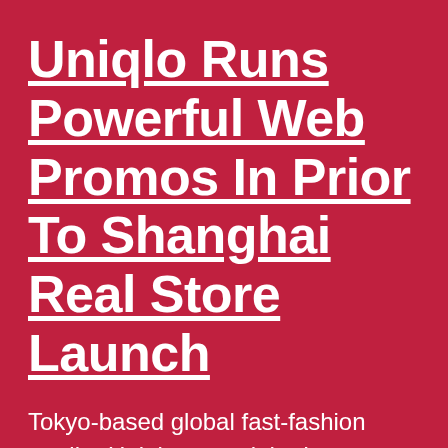Uniqlo Runs Powerful Web Promos In Prior To Shanghai Real Store Launch
Tokyo-based global fast-fashion retailer Uniqlo started the Internet promotion campaign using China's Facebook-like social network Kaixin and YouTube-like video sharing platform Youku, in prior to the May 15th opening of the